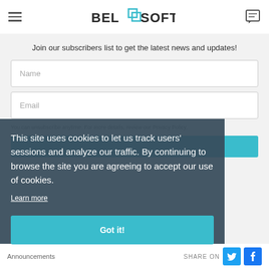BellSoft
Join our subscribers list to get the latest news and updates!
Name
Email
You can unsubscribe anytime. For more details, review our Privacy Policy.
This site uses cookies to let us track users' sessions and analyze our traffic. By continuing to browse the site you are agreeing to accept our use of cookies.
Learn more
Got it!
Announcements  SHARE ON